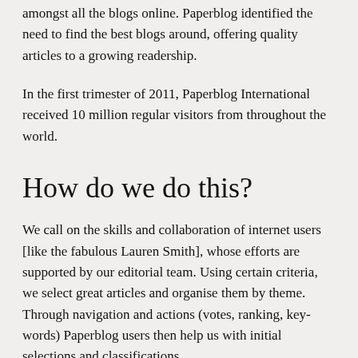amongst all the blogs online. Paperblog identified the need to find the best blogs around, offering quality articles to a growing readership.
In the first trimester of 2011, Paperblog International received 10 million regular visitors from throughout the world.
How do we do this?
We call on the skills and collaboration of internet users [like the fabulous Lauren Smith], whose efforts are supported by our editorial team. Using certain criteria, we select great articles and organise them by theme. Through navigation and actions (votes, ranking, keywords) Paperblog users then help us with initial selections and classifications.
The Paperblog editorial team then moderates and